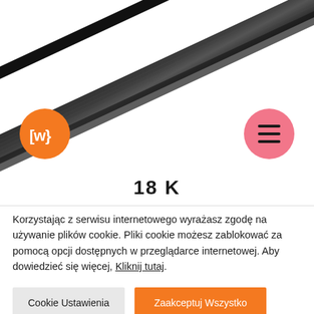[Figure (photo): Dark gray/black flat chisel or screwdriver tool photographed diagonally from upper left to lower right against a white background]
[Figure (logo): Orange circular logo with white text 'LWI' (stylized letters) in the center]
[Figure (other): Pink/salmon circular hamburger menu button with three horizontal dark lines]
18 K
Korzystając z serwisu internetowego wyrażasz zgodę na używanie plików cookie. Pliki cookie możesz zablokować za pomocą opcji dostępnych w przeglądarce internetowej. Aby dowiedzieć się więcej, Kliknij tutaj.
Cookie Ustawienia
Zaakceptuj Wszystko